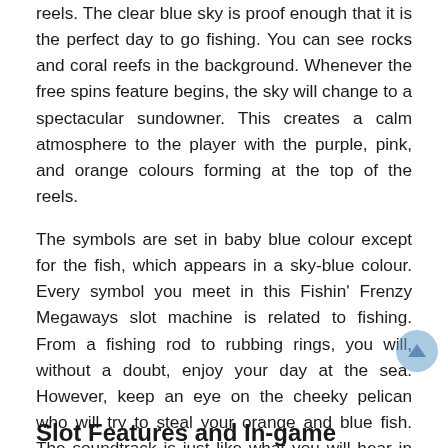reels. The clear blue sky is proof enough that it is the perfect day to go fishing. You can see rocks and coral reefs in the background. Whenever the free spins feature begins, the sky will change to a spectacular sundowner. This creates a calm atmosphere to the player with the purple, pink, and orange colours forming at the top of the reels.
The symbols are set in baby blue colour except for the fish, which appears in a sky-blue colour. Every symbol you meet in this Fishin' Frenzy Megaways slot machine is related to fishing. From a fishing rod to rubbing rings, you will, without a doubt, enjoy your day at the sea. However, keep an eye on the cheeky pelican who will try to steal your orange and blue fish. The soundtrack is just like what you will hear in normal casino slots. A louder sound will be heard whenever you land the scatter symbol.
Slot Features and In-game